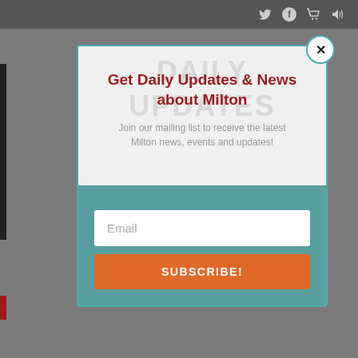[Figure (screenshot): Website popup modal for Milton news subscription]
Get Daily Updates & News about Milton
Join our mailing list to receive the latest Milton news, events and updates!
Email
SUBSCRIBE!